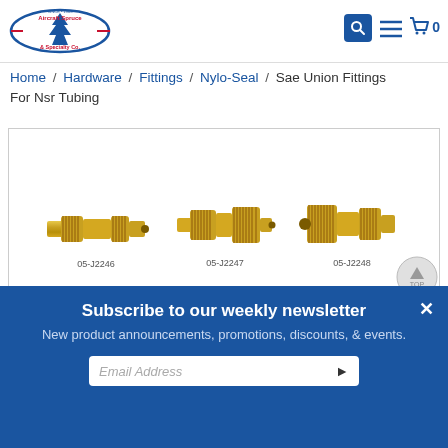[Figure (logo): Aircraft Spruce & Specialty Co. logo with search, menu, and cart icons]
Home / Hardware / Fittings / Nylo-Seal / Sae Union Fittings For Nsr Tubing
[Figure (photo): Three brass SAE union fittings for NSR tubing, labeled 05-J2246, 05-J2247, 05-J2248, with a TOP scroll button in the corner]
Subscribe to our weekly newsletter
New product announcements, promotions, discounts, & events.